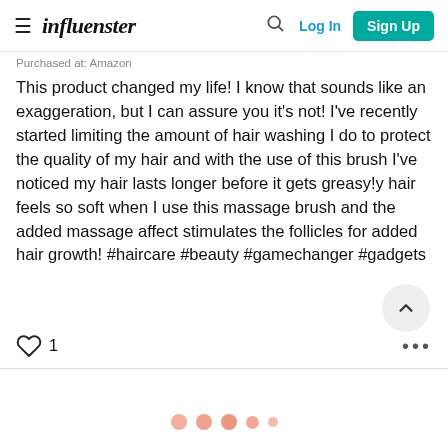influenster — Log In | Sign Up
Purchased at: Amazon
This product changed my life! I know that sounds like an exaggeration, but I can assure you it’s not! I’ve recently started limiting the amount of hair washing I do to protect the quality of my hair and with the use of this brush I’ve noticed my hair lasts longer before it gets greasy!y hair feels so soft when I use this massage brush and the added massage affect stimulates the follicles for added hair growth! #haircare #beauty #gamechanger #gadgets
[Figure (other): Scroll-to-top circular button with upward chevron icon]
1
[Figure (other): Loading animation dots in salmon/orange color, five dots of varying sizes]